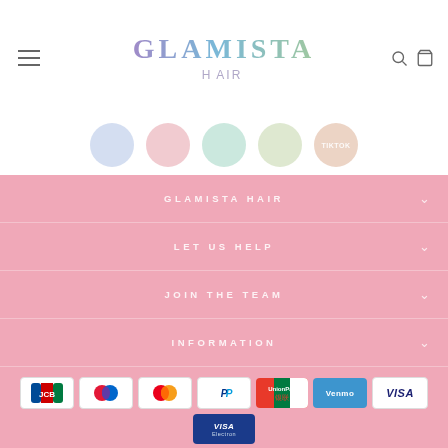GLAMISTA HAIR
[Figure (illustration): Five circular social media icons/badges in pastel colors (blue, pink, teal, green, orange) partially visible at bottom of header]
GLAMISTA HAIR
LET US HELP
JOIN THE TEAM
INFORMATION
[Figure (illustration): Payment method icons: JCB, Maestro, Mastercard, PayPal, UnionPay, Venmo, Visa, Visa Electron]